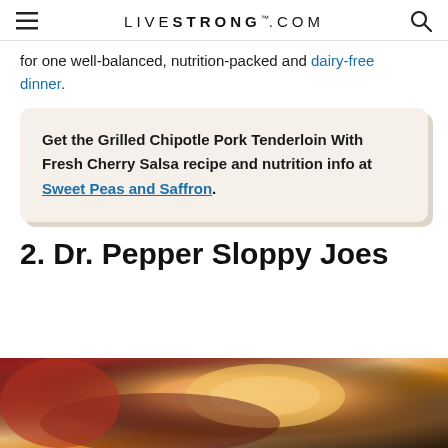LIVESTRONG.COM
for one well-balanced, nutrition-packed and dairy-free dinner.
Get the Grilled Chipotle Pork Tenderloin With Fresh Cherry Salsa recipe and nutrition info at Sweet Peas and Saffron.
2. Dr. Pepper Sloppy Joes
[Figure (photo): Close-up photo of a Sloppy Joe sandwich on a bun, with blurred red bottles in background]